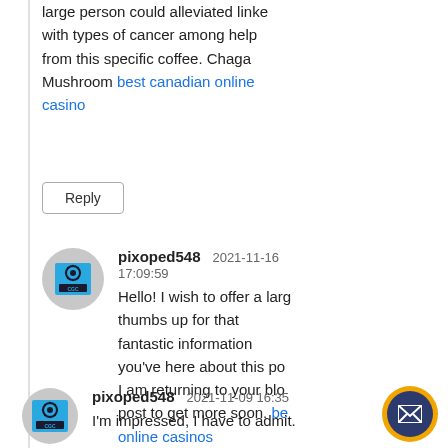large person could alleviated linked with types of cancer among help from this specific coffee. Chaga Mushroom best canadian online casino
Reply
pixoped548  2021-11-16 17:09:59
Hello! I wish to offer a large thumbs up for that fantastic information you've here about this post. I am returning to your blog post to get more soon. best online casinos
pixoped548  2021-11-09 16:35
I'm impressed, I have to admit.